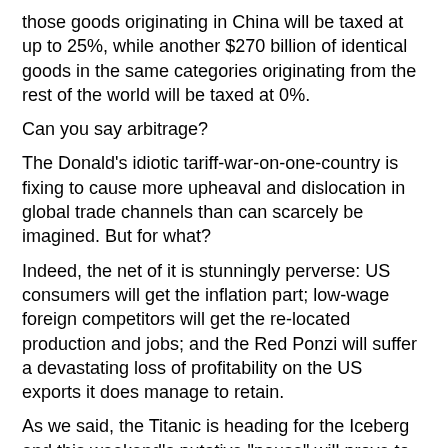those goods originating in China will be taxed at up to 25%, while another $270 billion of identical goods in the same categories originating from the rest of the world will be taxed at 0%.
Can you say arbitrage?
The Donald's idiotic tariff-war-on-one-country is fixing to cause more upheaval and dislocation in global trade channels than can scarcely be imagined. But for what?
Indeed, the net of it is stunningly perverse: US consumers will get the inflation part; low-wage foreign competitors will get the re-located production and jobs; and the Red Ponzi will suffer a devastating loss of profitability on the US exports it does manage to retain.
As we said, the Titanic is heading for the Iceberg and this weekend's putative "pause" will prove to be but a momentary way station before the conflagration sure to come.
[Figure (photo): Headshot photo of an older man with glasses, bookshelves in background]